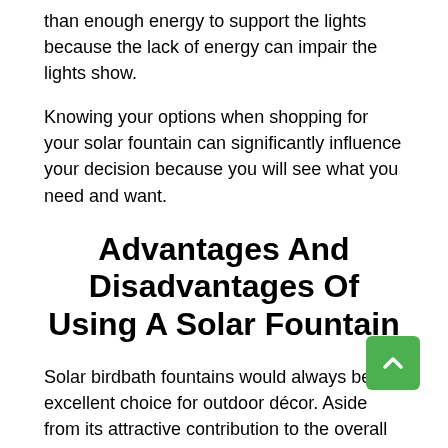than enough energy to support the lights because the lack of energy can impair the lights show.
Knowing your options when shopping for your solar fountain can significantly influence your decision because you will see what you need and want.
Advantages And Disadvantages Of Using A Solar Fountain
Solar birdbath fountains would always be an excellent choice for outdoor décor. Aside from its attractive contribution to the overall appearance, there are also advantages causing shoppers to gear towards buying the solar kind and not your traditional fountain. These are just some of the returns of buying and using a solar birdbath